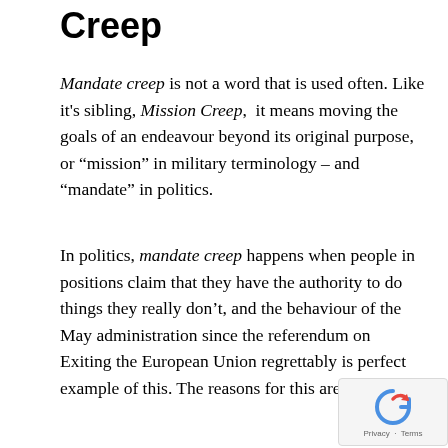Creep
Mandate creep is not a word that is used often. Like it’s sibling, Mission Creep, it means moving the goals of an endeavour beyond its original purpose, or “mission” in military terminology – and “mandate” in politics.
In politics, mandate creep happens when people in positions claim that they have the authority to do things they really don’t, and the behaviour of the May administration since the referendum on Exiting the European Union regrettably is perfect example of this. The reasons for this are as follows: